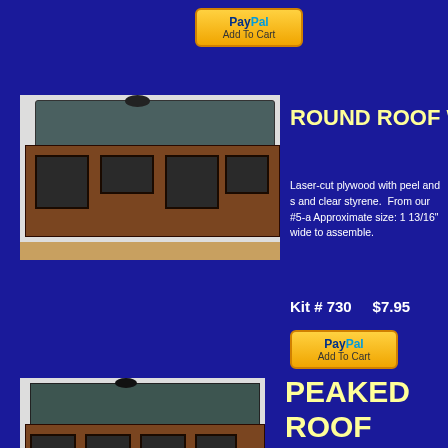[Figure (other): PayPal Add To Cart button at top of page]
[Figure (photo): Photo of a round roof wood cupola model building with dark green roof, wood frame walls and windows]
ROUND ROOF W
Laser-cut plywood with peel and s and clear styrene. From our #5-a Approximate size: 1 13/16" wide to assemble.
Kit # 730    $7.95
[Figure (other): PayPal Add To Cart button]
[Figure (photo): Photo of a peaked roof wood cupola model building with dark green roof, wood frame walls and windows]
PEAKED ROOF WOOD CUPOLA